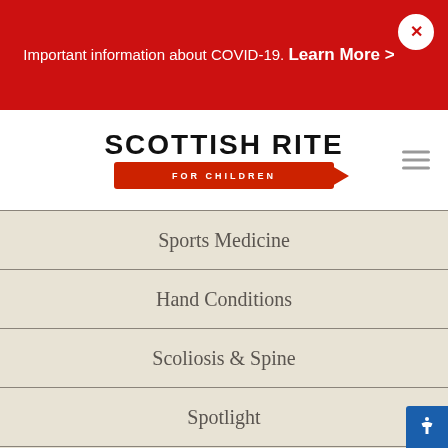Important information about COVID-19. Learn More >
[Figure (logo): Scottish Rite For Children logo with crayon graphic]
Sports Medicine
Hand Conditions
Scoliosis & Spine
Spotlight
Events